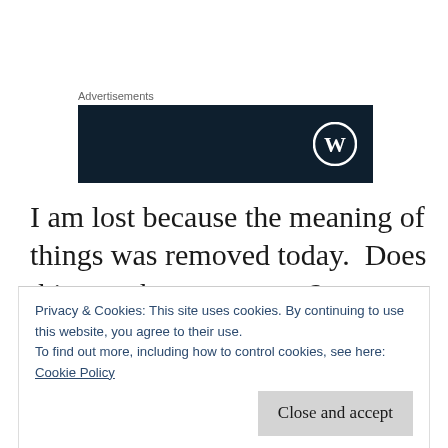Advertisements
[Figure (logo): Dark navy blue advertisement banner with WordPress logo (white circle with W) on the right side]
I am lost because the meaning of things was removed today.  Does this ever happen to you?  Nothing has meaning.  Maybe I’m dissociating again.  Or derealizating.  The environment, the
Privacy & Cookies: This site uses cookies. By continuing to use this website, you agree to their use.
To find out more, including how to control cookies, see here:
Cookie Policy
Close and accept